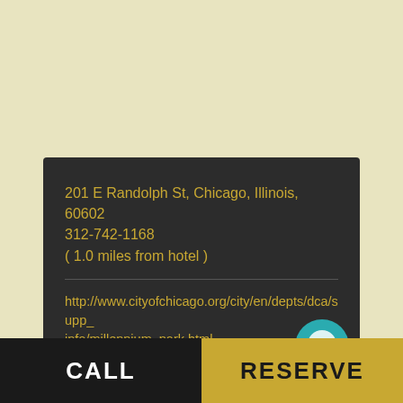201 E Randolph St, Chicago, Illinois, 60602
312-742-1168
( 1.0 miles from hotel )
http://www.cityofchicago.org/city/en/depts/dca/supp_info/millennium_park.html
Category: Attractions
CALL
RESERVE